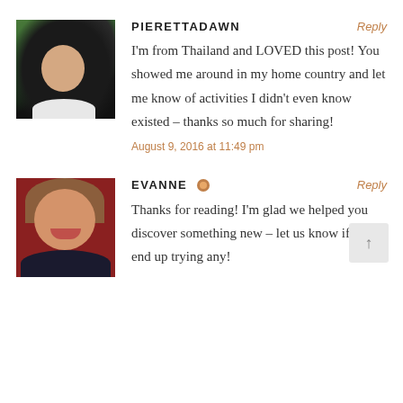[Figure (photo): Avatar photo of Pirettadawn – person with long dark hair, outdoor background]
PIERETTADAWN
Reply
I'm from Thailand and LOVED this post! You showed me around in my home country and let me know of activities I didn't even know existed – thanks so much for sharing!
August 9, 2016 at 11:49 pm
[Figure (photo): Avatar photo of Evanne – woman with long brown hair and red lipstick]
EVANNE
Reply
Thanks for reading! I'm glad we helped you discover something new – let us know if you end up trying any!